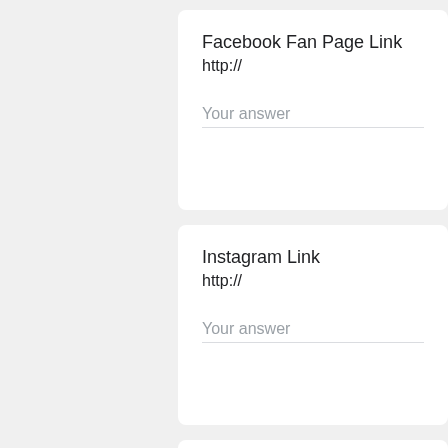Facebook Fan Page Link
http://
Your answer
Instagram Link
http://
Your answer
Reverbnation Page Link
http://